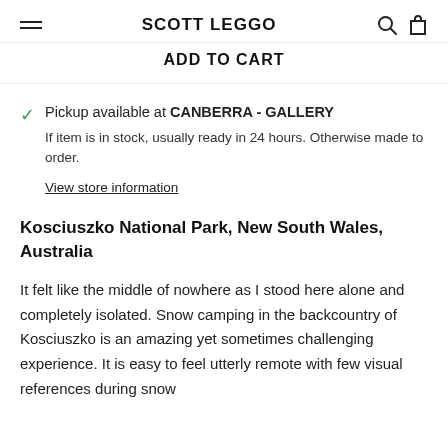SCOTT LEGGO
ADD TO CART
Pickup available at CANBERRA - GALLERY
If item is in stock, usually ready in 24 hours. Otherwise made to order.
View store information
Kosciuszko National Park, New South Wales, Australia
It felt like the middle of nowhere as I stood here alone and completely isolated. Snow camping in the backcountry of Kosciuszko is an amazing yet sometimes challenging experience. It is easy to feel utterly remote with few visual references during snow